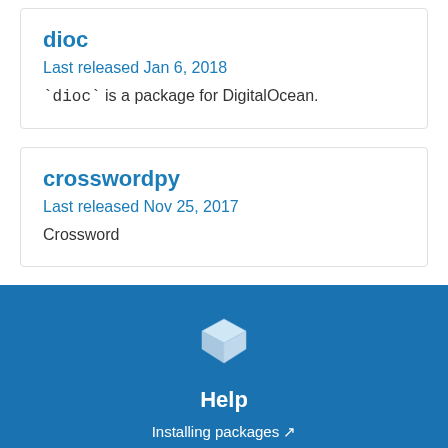dioc
Last released Jan 6, 2018
`dioc` is a package for DigitalOcean.
crosswordpy
Last released Nov 25, 2017
Crossword
Help
Installing packages